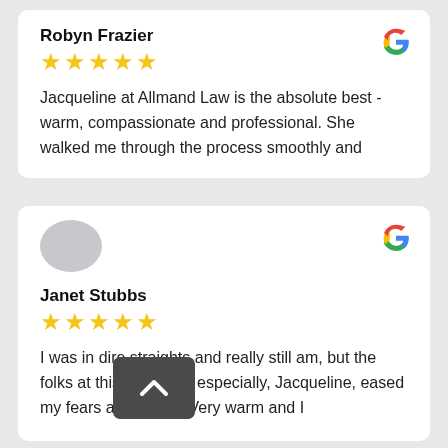Robyn Frazier
★★★★★
Jacqueline at Allmand Law is the absolute best - warm, compassionate and professional. She walked me through the process smoothly and
[Figure (logo): Google G logo, top right of first review card]
[Figure (photo): Gray oval avatar placeholder for Janet Stubbs]
Janet Stubbs
★★★★★
I was in dire straights and really still am, but the folks at this company, especially, Jacqueline, eased my fears and stress! Very warm and I
[Figure (logo): Google G logo, top right of second review card]
[Figure (other): Dark gray scroll-up button with chevron arrow]